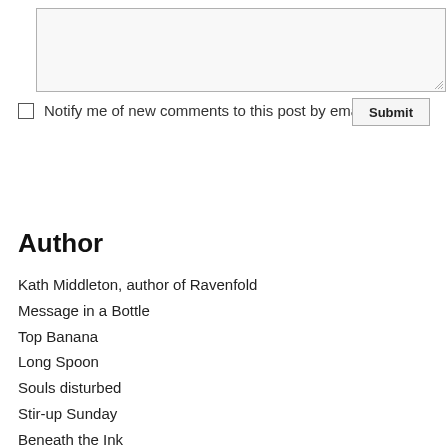[Figure (screenshot): A text area input box (form element), empty, with light gray background and resize handle at bottom-right.]
Notify me of new comments to this post by email
Submit
Author
Kath Middleton, author of Ravenfold
Message in a Bottle
Top Banana
Long Spoon
Souls disturbed
Stir-up Sunday
Beneath the Ink
The Novice's Demon